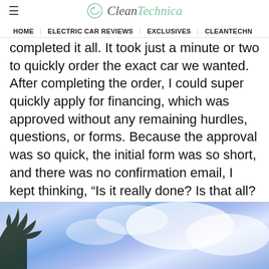CleanTechnica — HOME | ELECTRIC CAR REVIEWS | EXCLUSIVES | CLEANTECHN
completed it all. It took just a minute or two to quickly order the exact car we wanted. After completing the order, I could super quickly apply for financing, which was approved without any remaining hurdles, questions, or forms. Because the approval was so quick, the initial form was so short, and there was no confirmation email, I kept thinking, “Is it really done? Is that all? The process is over?” It was a great feeling, if also a bit hard to believe.
[Figure (photo): Sky with blue sky, white clouds, and tree silhouette in the lower left corner.]